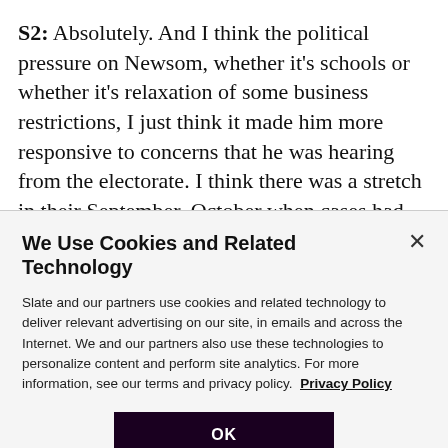S2: Absolutely. And I think the political pressure on Newsom, whether it's schools or whether it's relaxation of some business restrictions, I just think it made him more responsive to concerns that he was hearing from the electorate. I think there was a stretch in their September, October when cases had gone down. California was being praised for its management of the pandemic where there didn't seem to be such urgency...
We Use Cookies and Related Technology
Slate and our partners use cookies and related technology to deliver relevant advertising on our site, in emails and across the Internet. We and our partners also use these technologies to personalize content and perform site analytics. For more information, see our terms and privacy policy.  Privacy Policy
OK